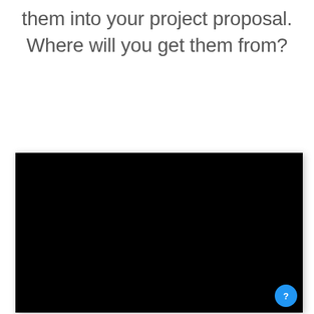them into your project proposal. Where will you get them from?
[Figure (other): Black video player rectangle embedded in page, with a blue circular help/info button in the bottom-right corner]